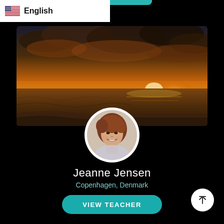[Figure (screenshot): US flag icon next to English language label in white top bar]
English
[Figure (photo): Sunset beach cover photo with dramatic orange and gold sky over ocean waves]
[Figure (photo): Circular profile photo of Jeanne Jensen, a woman smiling, with reddish-brown hair]
Jeanne Jensen
Copenhagen, Denmark
VIEW TEACHER